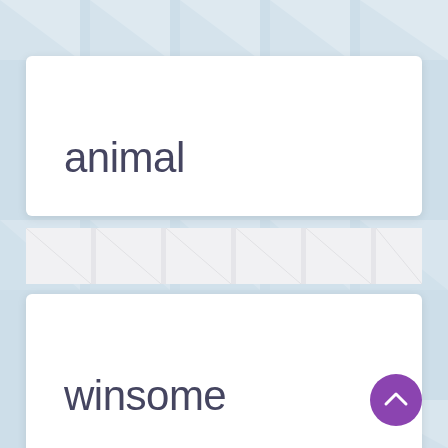[Figure (illustration): Light blue background with white geometric diagonal tile/fold pattern repeated across the page]
animal
[Figure (illustration): Middle band showing white geometric paper-fold/origami tile pattern on a light grey background]
winsome
[Figure (illustration): Purple circular FAB button with white upward chevron arrow]